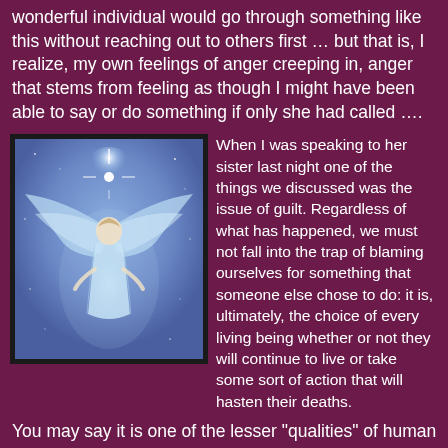wonderful individual would go through something like this without reaching out to others first … but that is, I realize, my own feelings of anger creeping in, anger that stems from feeling as though I might have been able to say or do something if only she had called ….
[Figure (illustration): An angel figure glowing with white light, wings spread wide, floating against a blue starry background. Religious/spiritual illustration.]
When I was speaking to her sister last night one of the things we discussed was the issue of guilt. Regardless of what has happened, we must not fall into the trap of blaming ourselves for something that someone else chose to do: it is, ultimately, the choice of every living being whether or not they will continue to live or take some sort of action that will hasten their deaths.
You may say it is one of the lesser "qualities" of human